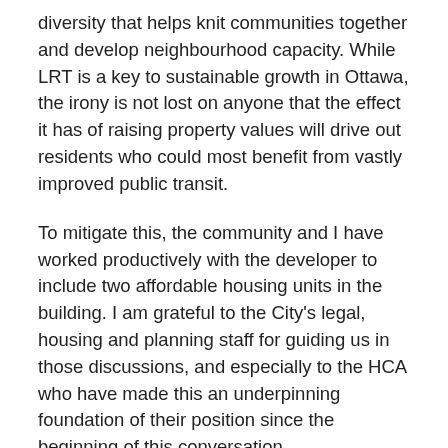diversity that helps knit communities together and develop neighbourhood capacity. While LRT is a key to sustainable growth in Ottawa, the irony is not lost on anyone that the effect it has of raising property values will drive out residents who could most benefit from vastly improved public transit.
To mitigate this, the community and I have worked productively with the developer to include two affordable housing units in the building. I am grateful to the City's legal, housing and planning staff for guiding us in those discussions, and especially to the HCA who have made this an underpinning foundation of their position since the beginning of this conversation.
To the best of our knowledge, this is the first time as part of an expanded Section 37 benefits package that a developer has voluntarily included affordable units in an otherwise market-rent building as opposed to providing a cash contribution towards such affordable units. We have had a transparent discussion about the financial